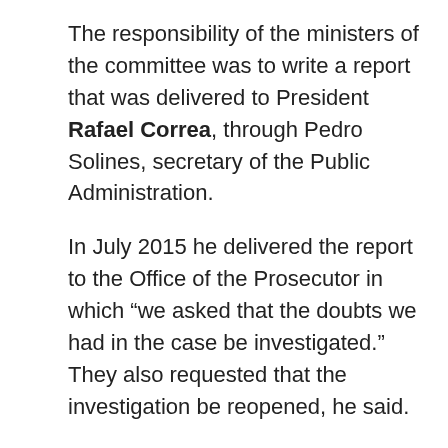The responsibility of the ministers of the committee was to write a report that was delivered to President Rafael Correa, through Pedro Solines, secretary of the Public Administration.
In July 2015 he delivered the report to the Office of the Prosecutor in which “we asked that the doubts we had in the case be investigated.” They also requested that the investigation be reopened, he said.
It was also requested that the bank deposits of a wife of a prisoner be investigated and that the complaints filed by the family be followed up. “I did not receive the third report from the expert Roberto Meza but a custody report from the Ministry of Justice, since it came six months after it.